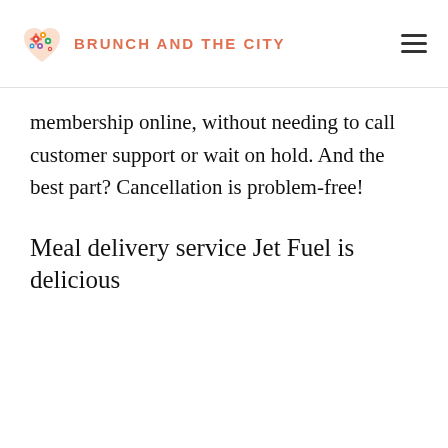BRUNCH AND THE CITY
membership online, without needing to call customer support or wait on hold. And the best part? Cancellation is problem-free!
Meal delivery service Jet Fuel is delicious